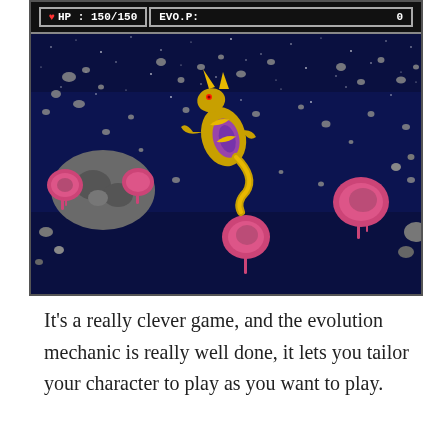[Figure (screenshot): Retro video game screenshot showing a space shooter scene. HUD at top shows HP: 150/150 and EVO.P: 0. The game environment is a dark blue space with floating asteroids and rocks. A gold and purple dragon/creature character is visible in the center. Pink blob-like enemies and gray mechanical units are scattered around.]
It's a really clever game, and the evolution mechanic is really well done, it lets you tailor your character to play as you want to play.